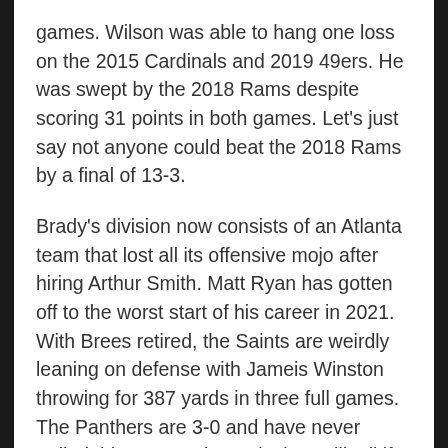games. Wilson was able to hang one loss on the 2015 Cardinals and 2019 49ers. He was swept by the 2018 Rams despite scoring 31 points in both games. Let's just say not anyone could beat the 2018 Rams by a final of 13-3.
Brady's division now consists of an Atlanta team that lost all its offensive mojo after hiring Arthur Smith. Matt Ryan has gotten off to the worst start of his career in 2021. With Brees retired, the Saints are weirdly leaning on defense with Jameis Winston throwing for 387 yards in three full games. The Panthers are 3-0 and have never trailed this season, but only time will tell if Sam Darnold, an old foe from The Three Stooges, will turn back to a pumpkin. Go figure, the AFC East only got another elite passer (Josh Allen) the second Brady moved to the other